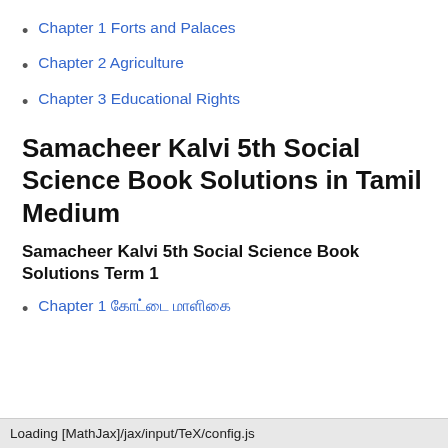Chapter 1 Forts and Palaces
Chapter 2 Agriculture
Chapter 3 Educational Rights
Samacheer Kalvi 5th Social Science Book Solutions in Tamil Medium
Samacheer Kalvi 5th Social Science Book Solutions Term 1
Chapter 1 கோட்டை மாளிகை
Loading [MathJax]/jax/input/TeX/config.js